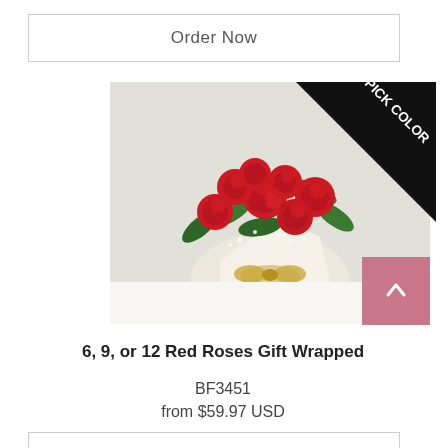Order Now
[Figure (photo): Photo of a bouquet of red roses gift wrapped in white paper with a golden bow, accompanied by baby's breath and green foliage. A black diagonal 'PICK COLOR' badge is in the top-right corner of the image.]
6, 9, or 12 Red Roses Gift Wrapped
BF3451
from $59.97 USD
Order Now